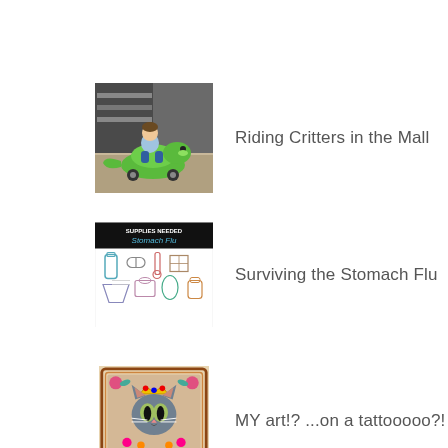[Figure (photo): Child riding a green animal ride-on toy in a mall, person visible in background]
Riding Critters in the Mall
[Figure (illustration): Infographic with black header text 'SUPPLIES NEEDED Stomach Flu' with sketched items like water bottle, medicine, etc.]
Surviving the Stomach Flu
[Figure (illustration): Colorful cat illustration with decorative border, appears to be artwork used as a tattoo design]
MY art!? ...on a tattooooo?!